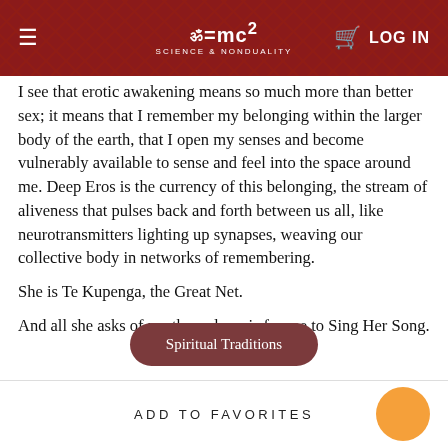ॐ=mc² SCIENCE & NONDUALITY | LOG IN
I see that erotic awakening means so much more than better sex; it means that I remember my belonging within the larger body of the earth, that I open my senses and become vulnerably available to sense and feel into the space around me. Deep Eros is the currency of this belonging, the stream of aliveness that pulses back and forth between us all, like neurotransmitters lighting up synapses, weaving our collective body in networks of remembering.
She is Te Kupenga, the Great Net.
And all she asks of me these days, is for me to Sing Her Song.
Spiritual Traditions
ADD TO FAVORITES